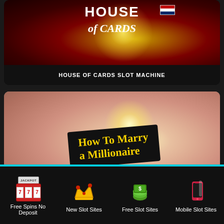[Figure (screenshot): House of Cards slot machine game thumbnail with dark red background and bright center light]
HOUSE OF CARDS SLOT MACHINE
[Figure (screenshot): How To Marry a Millionaire slot machine game thumbnail with pink-brown background and bright center light]
[Figure (infographic): Footer navigation bar with four items: Free Spins No Deposit, New Slot Sites, Free Slot Sites, Mobile Slot Sites]
Free Spins No Deposit
New Slot Sites
Free Slot Sites
Mobile Slot Sites